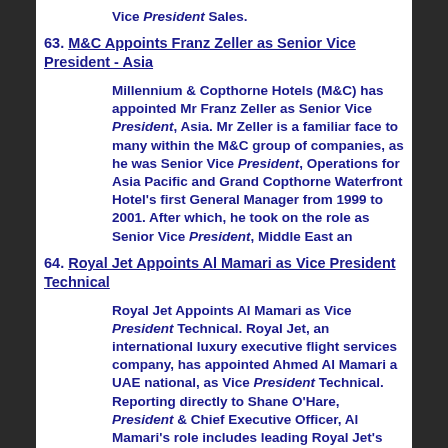Vice President Sales.
63. M&C Appoints Franz Zeller as Senior Vice President - Asia
Millennium & Copthorne Hotels (M&C) has appointed Mr Franz Zeller as Senior Vice President, Asia. Mr Zeller is a familiar face to many within the M&C group of companies, as he was Senior Vice President, Operations for Asia Pacific and Grand Copthorne Waterfront Hotel's first General Manager from 1999 to 2001. After which, he took on the role as Senior Vice President, Middle East an
64. Royal Jet Appoints Al Mamari as Vice President Technical
Royal Jet Appoints Al Mamari as Vice President Technical. Royal Jet, an international luxury executive flight services company, has appointed Ahmed Al Mamari a UAE national, as Vice President Technical. Reporting directly to Shane O'Hare, President & Chief Executive Officer, Al Mamari's role includes leading Royal Jet's maintenance and engineering team in the continual delivery of